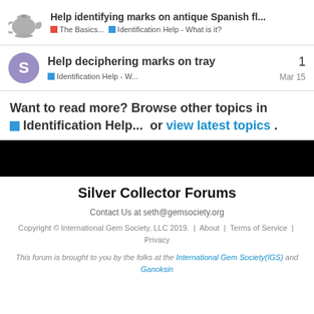Help identifying marks on antique Spanish fl... | The Basics... | Identification Help - What is it?
Help deciphering marks on tray | Identification Help - W... | 1 reply | Mar 15
Want to read more? Browse other topics in Identification Help... or view latest topics.
[Figure (other): Black horizontal bar separator]
Silver Collector Forums
Contact Us at seth@gemsociety.org
Copyright © International Gem Society, LLC 2019.  |  About  |  Terms of Service  |  Privacy
This forum is brought to you by the folks at the International Gem Society(IGS) and Ganoksin